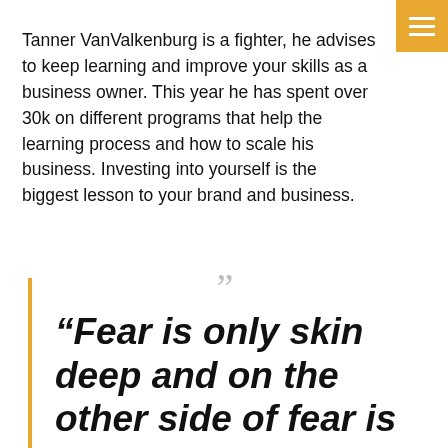Tanner VanValkenburg is a fighter, he advises to keep learning and improve your skills as a business owner. This year he has spent over 30k on different programs that help the learning process and how to scale his business. Investing into yourself is the biggest lesson to your brand and business.
“Fear is only skin deep and on the other side of fear is bliss. I think that